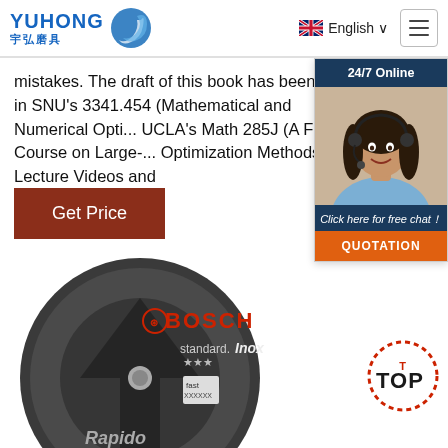YUHONG 宇弘磨具 | English
mistakes. The draft of this book has been used in SNU's 3341.454 (Mathematical and Numerical Opti... UCLA's Math 285J (A First Course on Large-... Optimization Methods).. Lecture Videos and
Get Price
[Figure (photo): Customer service representative woman with headset, smiling, with '24/7 Online' header, 'Click here for free chat!' text, and QUOTATION button]
[Figure (photo): Bosch Standard for Inox cutting disc - Rapido product image, dark circular grinding wheel with Bosch branding]
[Figure (logo): TOP badge with dotted red circle design]